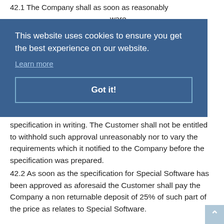42.1 The Company shall as soon as reasonably ... ware ... en to ... the ... ts ... as ...
specification in writing. The Customer shall not be entitled to withhold such approval unreasonably nor to vary the requirements which it notified to the Company before the specification was prepared.
42.2 As soon as the specification for Special Software has been approved as aforesaid the Customer shall pay the Company a non returnable deposit of 25% of such part of the price as relates to Special Software.